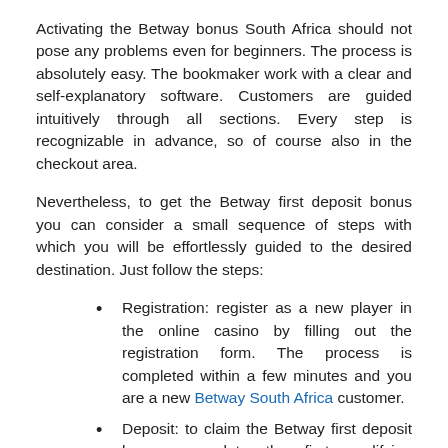Activating the Betway bonus South Africa should not pose any problems even for beginners. The process is absolutely easy. The bookmaker work with a clear and self-explanatory software. Customers are guided intuitively through all sections. Every step is recognizable in advance, so of course also in the checkout area.
Nevertheless, to get the Betway first deposit bonus you can consider a small sequence of steps with which you will be effortlessly guided to the desired destination. Just follow the steps:
Registration: register as a new player in the online casino by filling out the registration form. The process is completed within a few minutes and you are a new Betway South Africa customer.
Deposit: to claim the Betway first deposit bonus, complete the first qualifying deposit of at least 10 dollars. The ideal deposit amount in the first step is 40 dollars. You can choose from all available transfer methods.
Bonus activation: switch the Bonus during the first